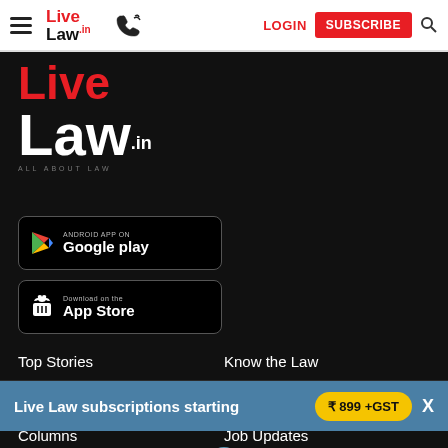Live Law.in | LOGIN | SUBSCRIBE
[Figure (logo): Live Law.in large logo in red and white on dark background]
[Figure (illustration): Google Play app download button]
[Figure (illustration): App Store download button]
Top Stories
Know the Law
News Update
Law Firms
Columns
Job Updates
Interviews
Book Reviews
Live Law subscriptions starting ₹ 899 +GST
Rti Updates
Cover Story